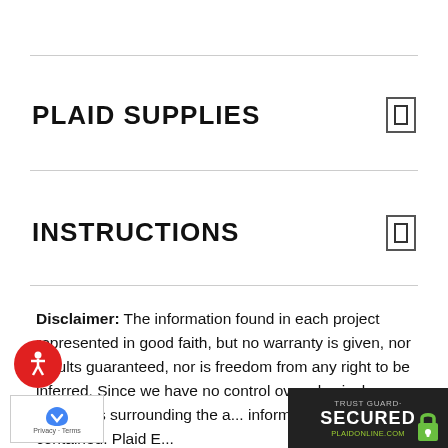PLAID SUPPLIES
INSTRUCTIONS
Disclaimer: The information found in each project represented in good faith, but no warranty is given, nor results guaranteed, nor is freedom from any right to be inferred. Since we have no control over physical conditions surrounding the application of information herein contained. Plaid E...